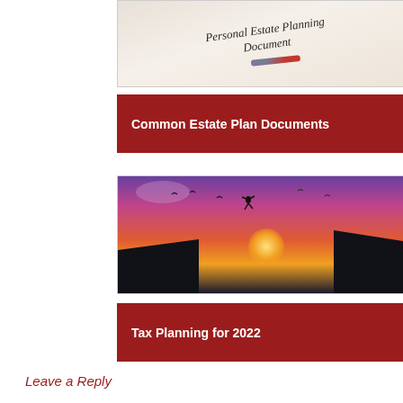[Figure (photo): Photo of a Personal Estate Planning Document with a pen resting on it]
Common Estate Plan Documents
[Figure (photo): Sunset silhouette photo of a person jumping between two cliffs labeled 2021 and 2022]
Tax Planning for 2022
Leave a Reply